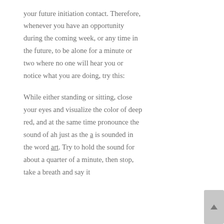your future initiation contact. Therefore, whenever you have an opportunity during the coming week, or any time in the future, to be alone for a minute or two where no one will hear you or notice what you are doing, try this:
While either standing or sitting, close your eyes and visualize the color of deep red, and at the same time pronounce the sound of ah just as the a is sounded in the word art. Try to hold the sound for about a quarter of a minute, then stop, take a breath and say it